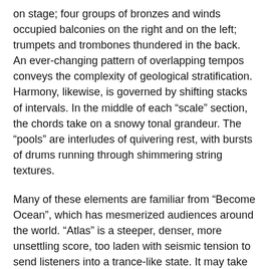on stage; four groups of bronzes and winds occupied balconies on the right and on the left; trumpets and trombones thundered in the back. An ever-changing pattern of overlapping tempos conveys the complexity of geological stratification. Harmony, likewise, is governed by shifting stacks of intervals. In the middle of each “scale” section, the chords take on a snowy tonal grandeur. The “pools” are interludes of quivering rest, with bursts of drums running through shimmering string textures.
Many of these elements are familiar from “Become Ocean”, which has mesmerized audiences around the world. “Atlas” is a steeper, denser, more unsettling score, too laden with seismic tension to send listeners into a trance-like state. It may take time to find the best way to present it. At the dress rehearsal, I sat in the orchestra; at the show, I was in the mezzanine. Neither perspective was ideal. Below, the balcony choirs seemed a little distant. Above, the sound was more immersive, though a phalanx of eight French horns obliterated everything else. Both times, darkness prevailed in the climaxes. A recording was made in the room the following day; this will